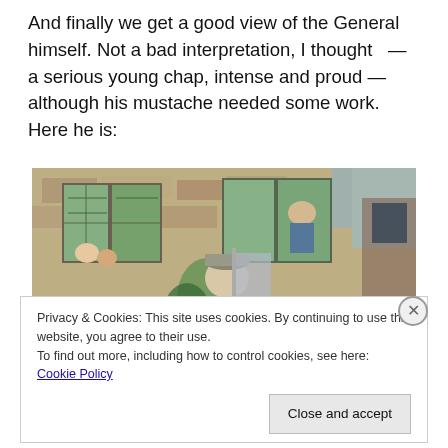And finally we get a good view of the General himself. Not a bad interpretation, I thought  — a serious young chap, intense and proud — although his mustache needed some work. Here he is:
[Figure (photo): A young man dressed as a military general stands in front of a stone building with green shuttered windows. He is wearing a military cap and holding a flag. Onlookers are visible in the windows above.]
Privacy & Cookies: This site uses cookies. By continuing to use this website, you agree to their use.
To find out more, including how to control cookies, see here: Cookie Policy